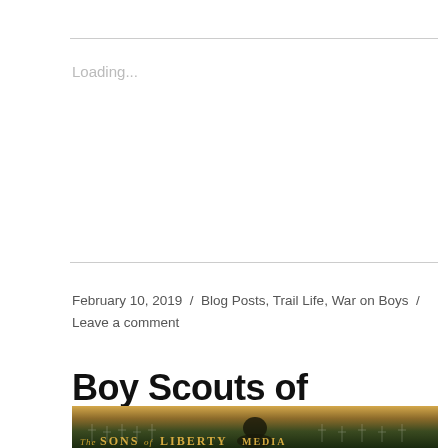Loading...
February 10, 2019  /  Blog Posts, Trail Life, War on Boys  /  Leave a comment
Boy Scouts of America, Have You Looked Across the Border to Canada?
[Figure (photo): A promotional image for 'The Sons of Liberty Media' showing a soldier kneeling in a field of white crosses (grave markers), viewed from behind, with dramatic golden sky lighting. Text overlay at bottom reads 'The SONS of LIBERTY MEDIA'.]